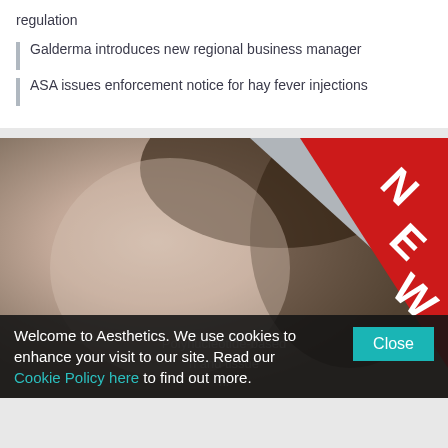regulation
Galderma introduces new regional business manager
ASA issues enforcement notice for hay fever injections
[Figure (photo): Woman with eyes closed smiling, with a red triangular 'NEW' banner in the top-right corner of the image]
Welcome to Aesthetics. We use cookies to enhance your visit to our site. Read our Cookie Policy here to find out more.